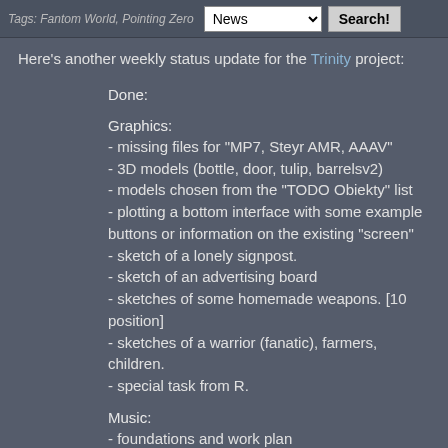Tags: Fantom World, Pointing Zero
News   Search!
Here's another weekly status update for the Trinity project:
Done:
Graphics:
- missing files for "MP7, Steyr AMR, AAAV"
- 3D models (bottle, door, tulip, barrelsv2)
- models chosen from the "TODO Obiekty" list
- plotting a bottom interface with some example buttons or information on the existing "screen"
- sketch of a lonely signpost.
- sketch of an advertising board
- sketches of some homemade weapons. [10 position]
- sketches of a warrior (fanatic), farmers, children.
- special task from R.
Music:
- foundations and work plan
Promotion:
- script for graphic artists needs.
SaW: